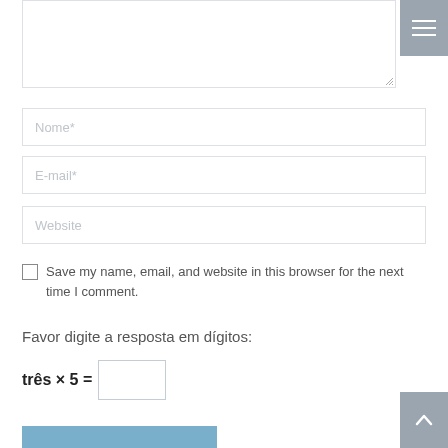[Figure (screenshot): Textarea input field (comment box) with resize handle at bottom right]
[Figure (screenshot): Navigation menu hamburger icon button (top right, grey background, three white lines)]
Nome*
E-mail*
Website
Save my name, email, and website in this browser for the next time I comment.
Favor digite a resposta em dígitos:
[Figure (screenshot): Scroll-to-top arrow button (bottom right, grey background, white up arrow)]